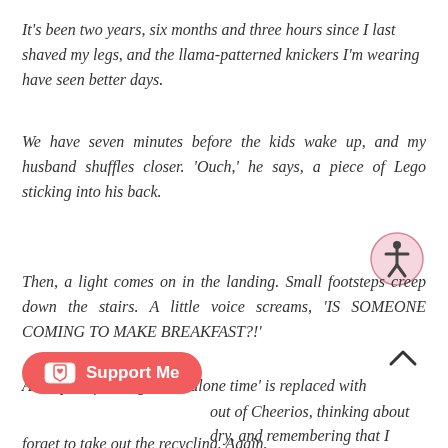It's been two years, six months and three hours since I last shaved my legs, and the llama-patterned knickers I'm wearing have seen better days.
We have seven minutes before the kids wake up, and my husband shuffles closer. 'Ouch,' he says, a piece of Lego sticking into his back.
[Figure (illustration): Accessibility icon — person with arms and legs spread inside a circle, pink outline]
Then, a light comes on in the landing. Small footsteps creep down the stairs. A little voice screams, 'IS SOMEONE COMING TO MAKE BREAKFAST?!'
[Figure (illustration): Scroll-to-top caret/arrow icon pointing upward]
All hopes of having some 'alone time' is replaced with
[Figure (illustration): Support Me button — red/coral rounded rectangle with Ko-fi cup and heart icon, white text reading 'Support Me']
out of Cheerios, thinking about
dry, and remembering that I
forget to take out the recycling. Again.